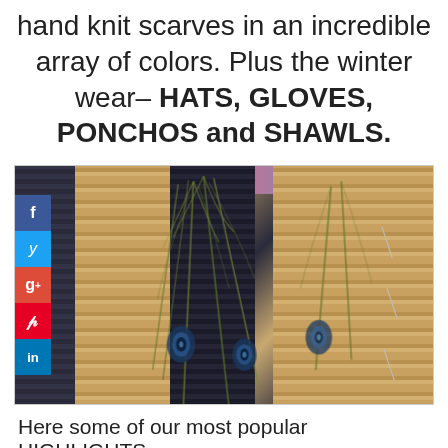hand knit scarves in an incredible array of colors. Plus the winter wear– HATS, GLOVES, PONCHOS and SHAWLS.
[Figure (photo): Photograph of several hand knit scarves displayed side by side — alternating dark navy/charcoal and tan/camel colored scarves, decorated with peacock feathers and safety pins. A social media sharing sidebar (Facebook, Twitter, Google+, Pinterest, LinkedIn) is visible on the left edge of the photo.]
Here some of our most popular HIGHLIGHTS